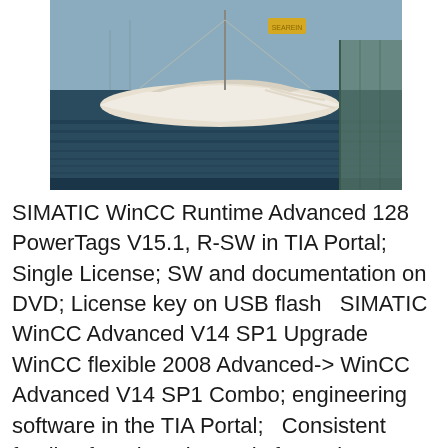[Figure (photo): A white sailboat moored at a dock, photographed from behind/side. Dark water reflections visible below the hull. A dock or pier structure visible on the right side. Warm, slightly vintage-toned photography.]
SIMATIC WinCC Runtime Advanced 128 PowerTags V15.1, R-SW in TIA Portal; Single License; SW and documentation on DVD; License key on USB flash  SIMATIC WinCC Advanced V14 SP1 Upgrade WinCC flexible 2008 Advanced-> WinCC Advanced V14 SP1 Combo; engineering software in the TIA Portal;  Consistent family of engineering tools for project planning of SIMATIC HMI operator units and the PC-based visualization systems WinCC Runtime Advanced  Rabattgrupp: 345 - 144 SIMATIC HMI mjukvaror 278 SIE SIMATIC WINCC ADVANCED V15, ENGINEERING SW I TIA PORTAL FLYTANDE